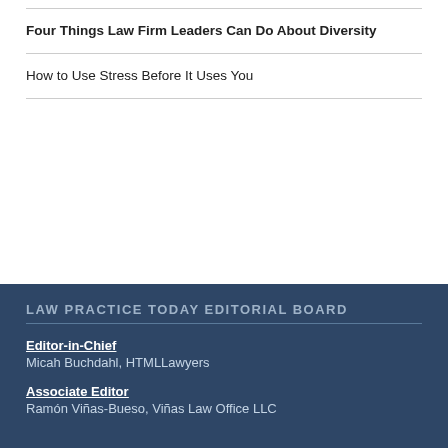Four Things Law Firm Leaders Can Do About Diversity
How to Use Stress Before It Uses You
LAW PRACTICE TODAY EDITORIAL BOARD
Editor-in-Chief
Micah Buchdahl, HTMLLawyers
Associate Editor
Ramón Viñas-Bueso, Viñas Law Office LLC